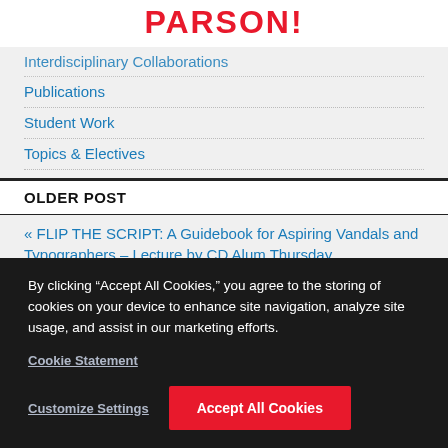PARSON!
Interdisciplinary Collaborations
Publications
Student Work
Topics & Electives
OLDER POST
« FLIP THE SCRIPT: A Guidebook for Aspiring Vandals and Typographers – Lecture by CD Alum Thursday
NEWER POST
TBN Screenings Video Production Internship NVO Off…
By clicking “Accept All Cookies,” you agree to the storing of cookies on your device to enhance site navigation, analyze site usage, and assist in our marketing efforts.
Cookie Statement
Customize Settings
Accept All Cookies